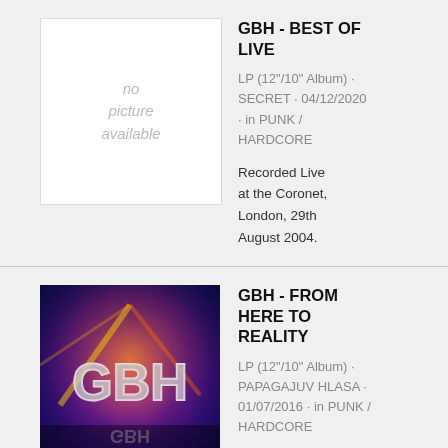[Figure (photo): No picture available placeholder box (white rectangle with gray text)]
GBH - BEST OF LIVE
LP (12"/10" Album) · SECRET · 04/12/2020 · in PUNK / HARDCORE
Recorded Live at the Coronet, London, 29th August 2004.
[Figure (photo): GBH - From Here to Reality album cover with colorful graffiti-style GBH logo on dark background]
GBH - FROM HERE TO REALITY
LP (12"/10" Album) · PAPAGAJUV HLASA · 01/07/2016 · in PUNK / HARDCORE
On vinyl, here's a reissue of the